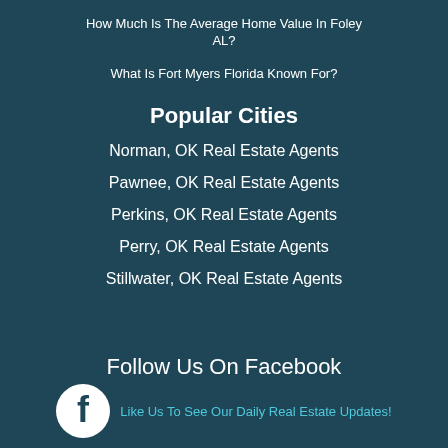How Much Is The Average Home Value In Foley AL?
What Is Fort Myers Florida Known For?
Popular Cities
Norman, OK Real Estate Agents
Pawnee, OK Real Estate Agents
Perkins, OK Real Estate Agents
Perry, OK Real Estate Agents
Stillwater, OK Real Estate Agents
Follow Us On Facebook
Like Us To See Our Daily Real Estate Updates!